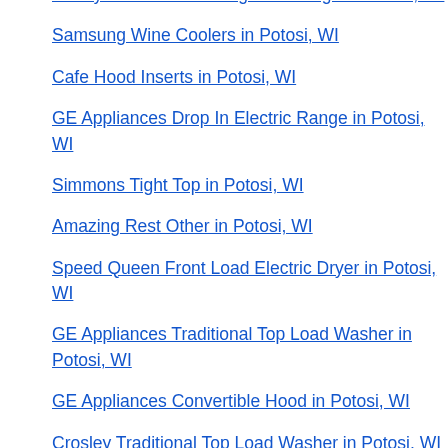Danby 20" Free Standing Gas Range in Potosi, WI
Samsung Wine Coolers in Potosi, WI
Cafe Hood Inserts in Potosi, WI
GE Appliances Drop In Electric Range in Potosi, WI
Simmons Tight Top in Potosi, WI
Amazing Rest Other in Potosi, WI
Speed Queen Front Load Electric Dryer in Potosi, WI
GE Appliances Traditional Top Load Washer in Potosi, WI
GE Appliances Convertible Hood in Potosi, WI
Crosley Traditional Top Load Washer in Potosi, WI
GE Appliances Portable Washer in Potosi, WI
Speed Queen Front Load Washer in Potosi, WI
Danby Ice Makers in Potosi, WI